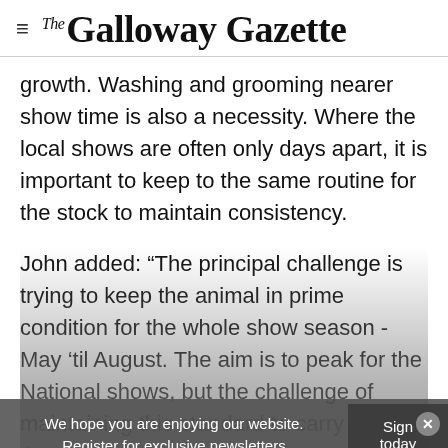The Galloway Gazette
growth. Washing and grooming nearer show time is also a necessity. Where the local shows are often only days apart, it is important to keep to the same routine for the stock to maintain consistency.
John added: “The principal challenge is trying to keep the animal in prime condition for the whole show season - May ‘til August. The aim is to peak for the National shows, but the challenge of maintaining this standard to carry through…
We hope you are enjoying our website. Register for exclusive newsletters
Sign today